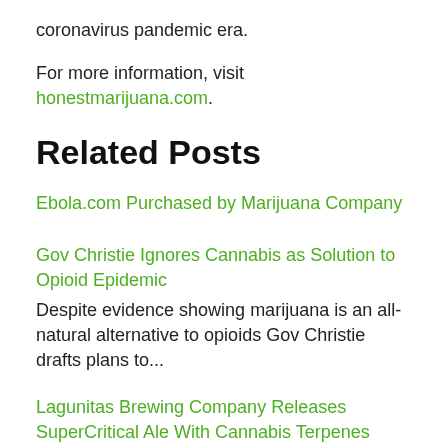coronavirus pandemic era.
For more information, visit honestmarijuana.com.
Related Posts
Ebola.com Purchased by Marijuana Company
Gov Christie Ignores Cannabis as Solution to Opioid Epidemic
Despite evidence showing marijuana is an all-natural alternative to opioids Gov Christie drafts plans to...
Lagunitas Brewing Company Releases SuperCritical Ale With Cannabis Terpenes
Two great tastes that go great together. Lagunitas Brewing Company will release SuperCritical ale brewed...